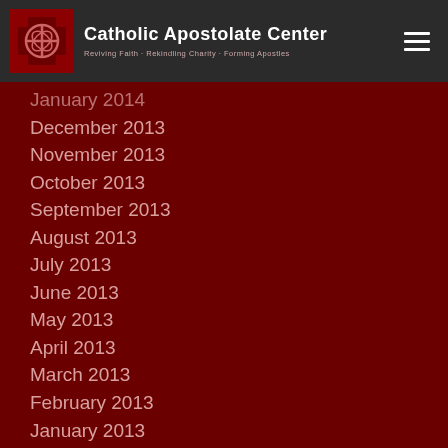Catholic Apostolate Center — Reviving Faith · Rekindling Charity · Forming Apostles
January 2014
December 2013
November 2013
October 2013
September 2013
August 2013
July 2013
June 2013
May 2013
April 2013
March 2013
February 2013
January 2013
December 2012
November 2012
October 2012
June 2012